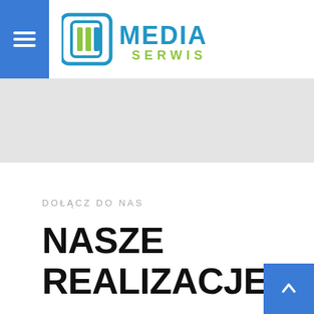Media Serwis — navigation header with hamburger menu and logo
[Figure (screenshot): Gray hero/banner area below the navigation header]
DOŁĄCZ DO NAS
NASZE REALIZACJE